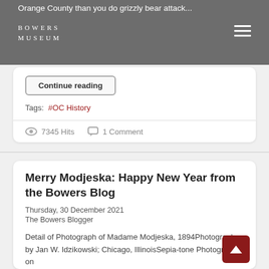Orange County than you do grizzly bear attack...
[Figure (logo): Bowers Museum logo in white text on gray background]
Continue reading
Tags: #OC History
7345 Hits  1 Comment
Merry Modjeska: Happy New Year from the Bowers Blog
Thursday, 30 December 2021
The Bowers Blogger
Detail of Photograph of Madame Modjeska, 1894Photograph by Jan W. Idzikowski; Chicago, IllinoisSepia-tone Photograph on